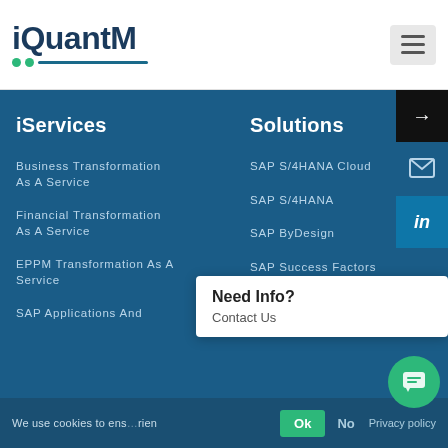[Figure (logo): iQuantM logo with teal dots and dark blue dash underline]
iServices
Business Transformation As A Service
Financial Transformation As A Service
EPPM Transformation As A Service
SAP Applications And
Solutions
SAP S/4HANA Cloud
SAP S/4HANA
SAP ByDesign
SAP Success Factors
SAP C/4HANA
We use cookies to ensure best experience
Need Info?
Contact Us